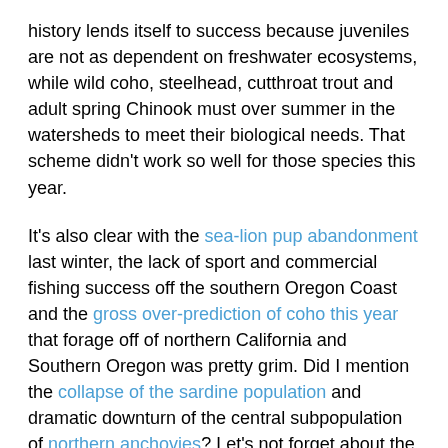history lends itself to success because juveniles are not as dependent on freshwater ecosystems, while wild coho, steelhead, cutthroat trout and adult spring Chinook must over summer in the watersheds to meet their biological needs. That scheme didn't work so well for those species this year.
It's also clear with the sea-lion pup abandonment last winter, the lack of sport and commercial fishing success off the southern Oregon Coast and the gross over-prediction of coho this year that forage off of northern California and Southern Oregon was pretty grim. Did I mention the collapse of the sardine population and dramatic downturn of the central subpopulation of northern anchovies? Let's not forget about the massive shellfish closure for clams and crabs along the Oregon Coast just recently. Yeah, maybe it's time to pay attention.
But this is the holiday season, right? It's not all that much fun to write about the deep concerns those that pay attention to